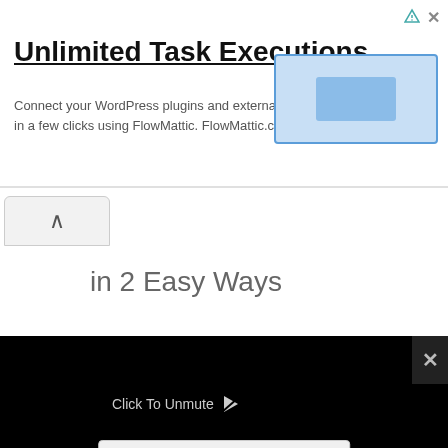[Figure (screenshot): Advertisement banner for FlowMattic with title 'Unlimited Task Executions', body text, and a light blue button/image on the right side. Has ad indicator icons (triangle and X) in top right.]
in 2 Easy Ways
How to Watch Ignite TV on Roku [Easy
[Figure (screenshot): Video player overlay on black background showing 'Click To Unmute' text with cursor icon, and a 'Source not found' error message with red circle exclamation icon. Has an X close button in the top right corner.]